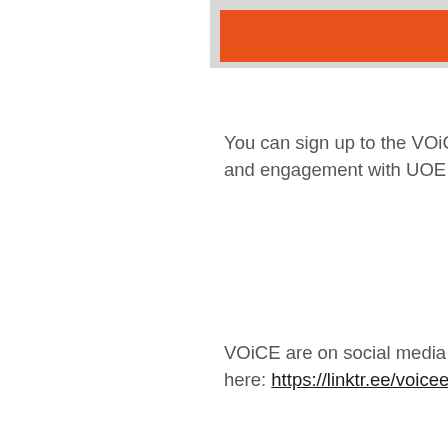[Figure (other): Orange banner/header graphic at top of content area]
You can sign up to the VOiCE newsletter and engagement with UOE collect
VOiCE are on social media and you can find them here: https://linktr.ee/voiceed
You can listen to the VOiCE podca
Share this: